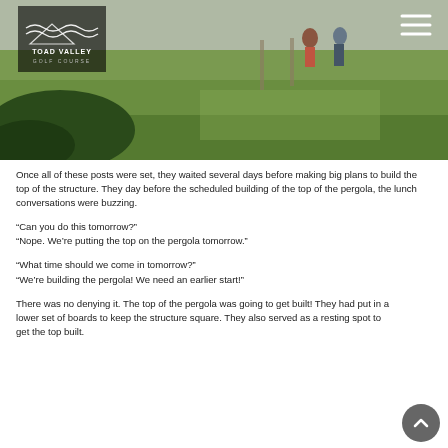[Figure (photo): Outdoor photo of a green grassy golf course area with people in the background and trees/bushes in the foreground. Toad Valley Golf Course logo visible in top-left corner with hamburger menu icon top-right.]
Once all of these posts were set, they waited several days before making big plans to build the top of the structure.  They day before the scheduled building of the top of the pergola, the lunch conversations were buzzing.
“Can you do this tomorrow?”
“Nope.  We’re putting the top on the pergola tomorrow.”
“What time should we come in tomorrow?”
“We’re building the pergola!  We need an earlier start!”
There was no denying it.  The top of the pergola was going to get built!  They had put in a lower set of boards to keep the structure square.  They also served as a resting spot to get the top built.